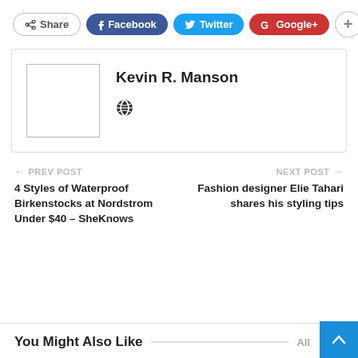[Figure (screenshot): Share bar with Share, Facebook, Twitter, Google+, and + buttons]
[Figure (other): Author card with placeholder image and name Kevin R. Manson with globe icon]
Kevin R. Manson
← PREV POST
4 Styles of Waterproof Birkenstocks at Nordstrom Under $40 – SheKnows
NEXT POST →
Fashion designer Elie Tahari shares his styling tips
You Might Also Like
All